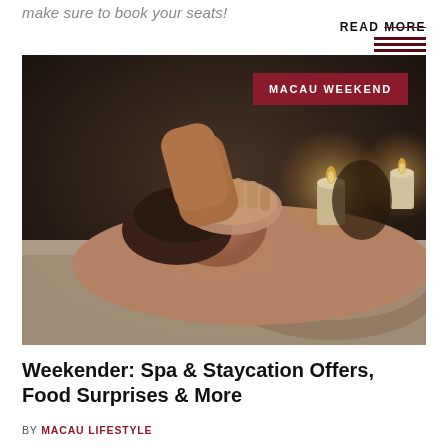make sure to book your seats!
READ MORE
[Figure (photo): Woman lying on a massage table receiving a facial/head massage from a therapist. She is draped in a beige towel with a rolled towel under her neck. Candles are visible in the background. Badge overlay reads 'MACAU WEEKEND'.]
Weekender: Spa & Staycation Offers, Food Surprises & More
BY MACAU LIFESTYLE